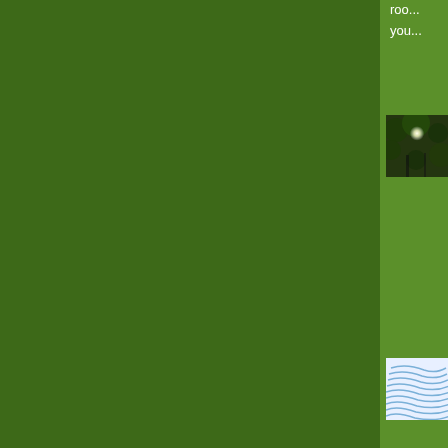roo... you...
[Figure (photo): Small thumbnail photo of sunlight through forest trees, dark with bright light spot]
Hey... los... in o... rela... bal...
[Figure (logo): Square logo with blue and white curved wave lines on white background]
Tha... Re...
The comments to t...
Pl...
Valerie C. White, A... her studio (2009 C...